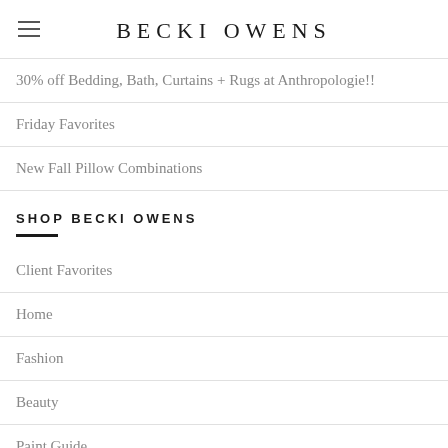BECKI OWENS
30% off Bedding, Bath, Curtains + Rugs at Anthropologie!!
Friday Favorites
New Fall Pillow Combinations
SHOP BECKI OWENS
Client Favorites
Home
Fashion
Beauty
Paint Guide
Becki Owens Living